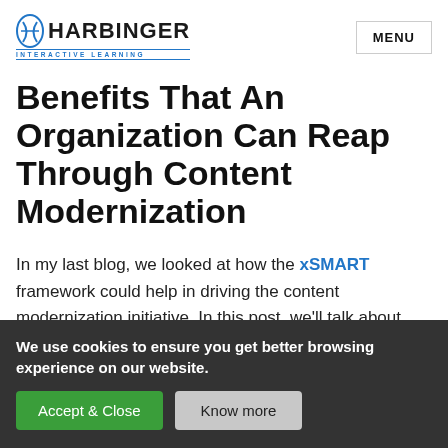HARBINGER INTERACTIVE LEARNING | MENU
Benefits That An Organization Can Reap Through Content Modernization
In my last blog, we looked at how the xSMART framework could help in driving the content modernization initiative. In this post, we'll talk about
We use cookies to ensure you get better browsing experience on our website.
Accept & Close | Know more